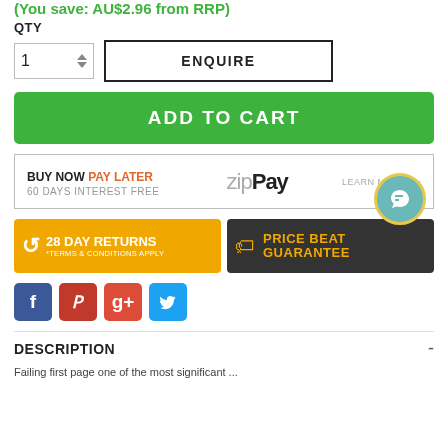(You save: AU$2.96 from RRP)
QTY
[Figure (screenshot): Quantity input box showing '1' with up/down arrows and an ENQUIRE button]
[Figure (screenshot): Green ADD TO CART button]
[Figure (infographic): ZipPay banner: BUY NOW PAY LATER - 60 DAYS INTEREST FREE with zipPay logo and LEARN MORE link]
[Figure (infographic): 28 DAY RETURNS badge with terms and PRICE BEAT GUARANTEE badge]
[Figure (infographic): Social sharing icons: Facebook, Pinterest, Google+, Twitter]
DESCRIPTION
Failing first page one of the most significant ...